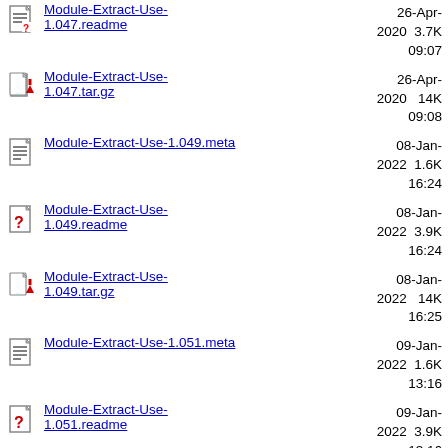Module-Extract-Use-1.047.readme  26-Apr-2020 09:07  3.7K
Module-Extract-Use-1.047.tar.gz  26-Apr-2020 09:08  14K
Module-Extract-Use-1.049.meta  08-Jan-2022 16:24  1.6K
Module-Extract-Use-1.049.readme  08-Jan-2022 16:24  3.9K
Module-Extract-Use-1.049.tar.gz  08-Jan-2022 16:25  14K
Module-Extract-Use-1.051.meta  09-Jan-2022 13:16  1.6K
Module-Extract-Use-1.051.readme  09-Jan-2022 13:16  3.9K
Module-Extract-Use-1.051.tar.gz  09-Jan-2022 13:17  14K